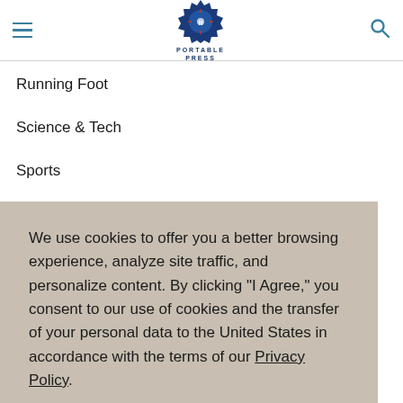Portable Press
Running Foot
Science & Tech
Sports
We use cookies to offer you a better browsing experience, analyze site traffic, and personalize content. By clicking "I Agree," you consent to our use of cookies and the transfer of your personal data to the United States in accordance with the terms of our Privacy Policy.
I Agree